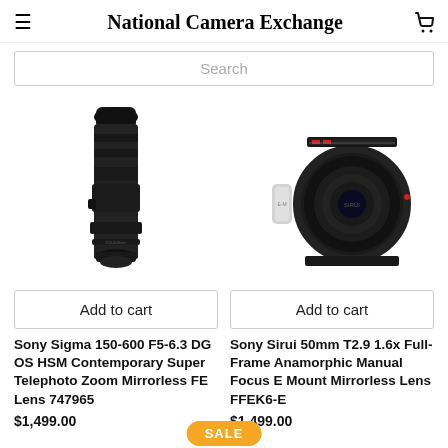National Camera Exchange
Search
[Figure (photo): Black Sony Sigma 150-600mm telephoto zoom lens standing vertically]
Add to cart
Sony Sigma 150-600 F5-6.3 DG OS HSM Contemporary Super Telephoto Zoom Mirrorless FE Lens 747965
$1,499.00
[Figure (photo): Black Sony Sirui 50mm anamorphic cinema lens viewed from front angle]
Add to cart
Sony Sirui 50mm T2.9 1.6x Full-Frame Anamorphic Manual Focus E Mount Mirrorless Lens FFEK6-E
$1,499.00
SALE